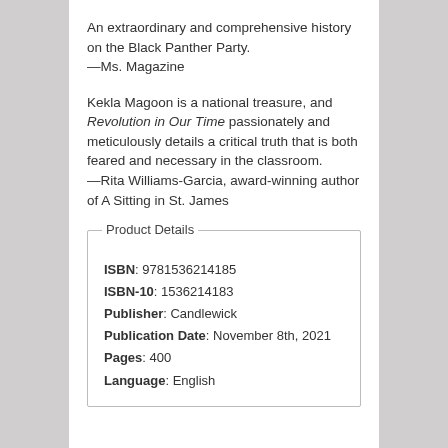An extraordinary and comprehensive history on the Black Panther Party.
—Ms. Magazine
Kekla Magoon is a national treasure, and Revolution in Our Time passionately and meticulously details a critical truth that is both feared and necessary in the classroom.
—Rita Williams-Garcia, award-winning author of A Sitting in St. James
| ISBN | 9781536214185 |
| ISBN-10 | 1536214183 |
| Publisher | Candlewick |
| Publication Date | November 8th, 2021 |
| Pages | 400 |
| Language | English |